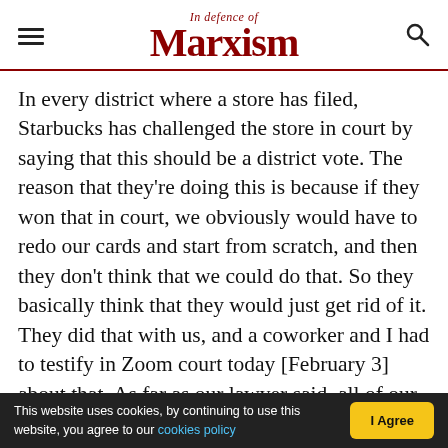In defence of Marxism
In every district where a store has filed, Starbucks has challenged the store in court by saying that this should be a district vote. The reason that they’re doing this is because if they won that in court, we obviously would have to redo our cards and start from scratch, and then they don’t think that we could do that. So they basically think that they would just get rid of it. They did that with us, and a coworker and I had to testify in Zoom court today [February 3] about that. As far as our lawyer said, all of our testimony is in line with all of the other stores and Starbucks has already all of the…
This website uses cookies, by continuing to use this website, you agree to our cookies policy | I Agree